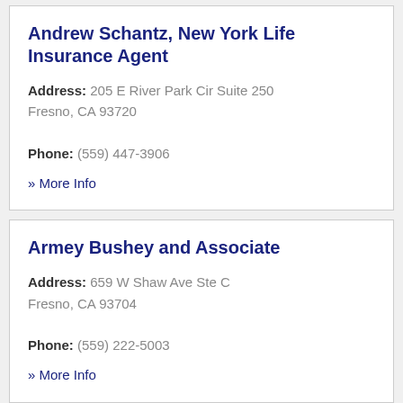Andrew Schantz, New York Life Insurance Agent
Address: 205 E River Park Cir Suite 250 Fresno, CA 93720
Phone: (559) 447-3906
» More Info
Armey Bushey and Associate
Address: 659 W Shaw Ave Ste C Fresno, CA 93704
Phone: (559) 222-5003
» More Info
Associated Indemnity Corp